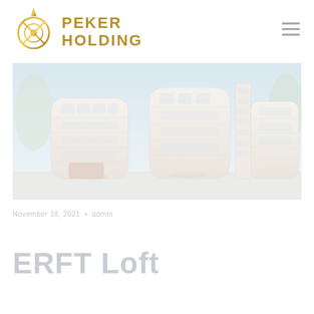[Figure (logo): Peker Holding logo with golden cross/shield emblem and gold text reading PEKER HOLDING]
[Figure (photo): Architectural rendering of modern multi-story residential or commercial building complex with curved facades, balconies, and glass windows, shown in pale/washed-out tones with trees on the sides]
November 18, 2021  •  admin
ERFT Loft